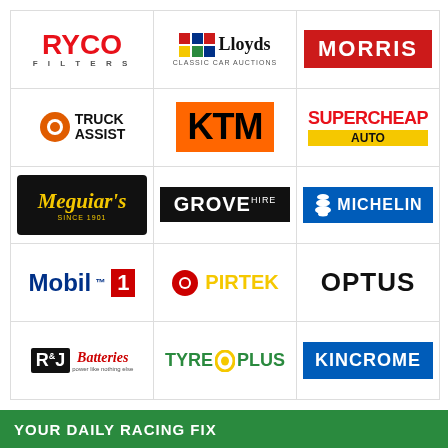[Figure (logo): Ryco Filters logo - red text]
[Figure (logo): Lloyds Classic Car Auctions logo]
[Figure (logo): Morris logo - red background white text]
[Figure (logo): Truck Assist logo]
[Figure (logo): KTM logo - orange background black text]
[Figure (logo): Supercheap Auto logo - red and yellow]
[Figure (logo): Meguiar's logo - gold on black]
[Figure (logo): Grove Hire logo - white on black]
[Figure (logo): Michelin logo - blue background]
[Figure (logo): Mobil 1 logo - blue and red]
[Figure (logo): Pirtek logo - yellow text]
[Figure (logo): Optus logo - black text]
[Figure (logo): R&J Batteries logo]
[Figure (logo): Tyre Plus logo - green and yellow]
[Figure (logo): Kincrome logo - blue background white text]
YOUR DAILY RACING FIX